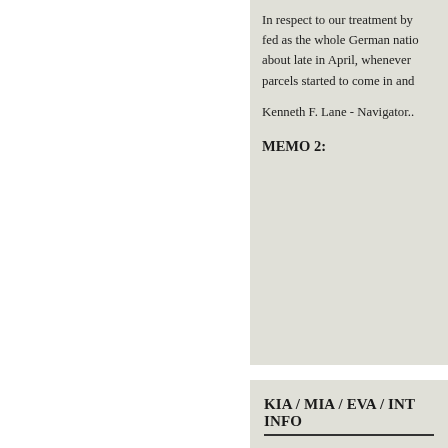In respect to our treatment by fed as the whole German natio about late in April, whenever parcels started to come in and
Kenneth F. Lane - Navigator..
MEMO 2:
KIA / MIA / EVA / INT INFO
TARGET:
AIRCRAFT:
BURIAL INFORMATION
PLOT: